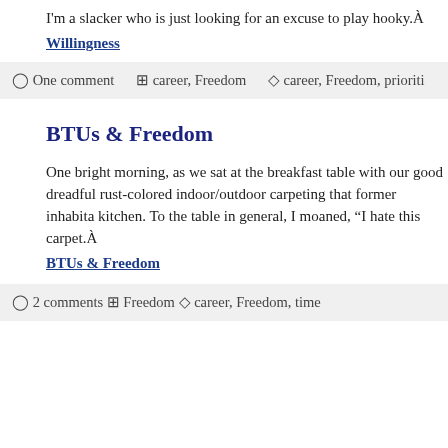I’m a slacker who is just looking for an excuse to play hooky.À
Willingness
○ One comment ⊡ career, Freedom ◇ career, Freedom, prioriti
BTUs & Freedom
One bright morning, as we sat at the breakfast table with our good dreadful rust-colored indoor/outdoor carpeting that former inhabita kitchen. To the table in general, I moaned, “I hate this carpet.À
BTUs & Freedom
○ 2 comments ⊡ Freedom ◇ career, Freedom, time